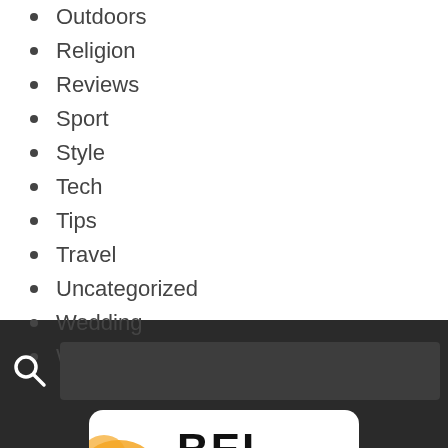Outdoors
Religion
Reviews
Sport
Style
Tech
Tips
Travel
Uncategorized
Wedding
Women's Care
[Figure (screenshot): Dark footer section with a search bar (magnifying glass icon on the left, dark input box on the right) and a logo at the bottom showing 'BEL' in bold handwritten font on a white rounded rectangle, with colorful illustrated characters around it.]